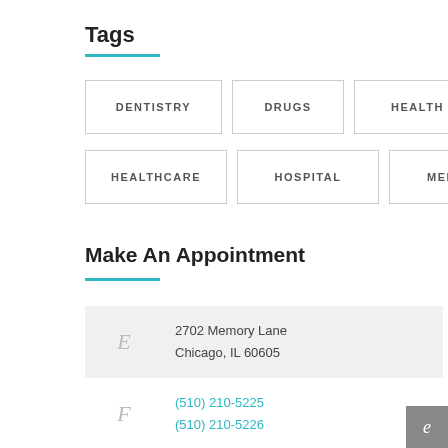Tags
DENTISTRY
DRUGS
HEALTH
HEALTHCARE
HOSPITAL
MEDICINE
Make An Appointment
2702 Memory Lane
Chicago, IL 60605
(510) 210-5225
(510) 210-5226
Online Booking: